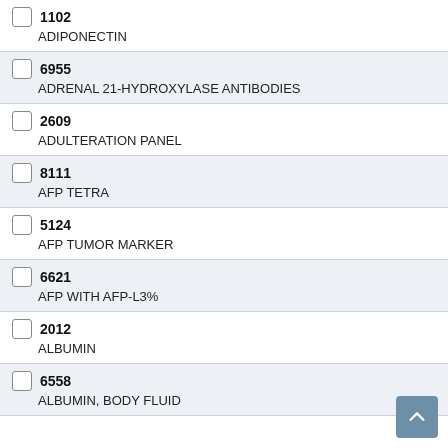1102 ADIPONECTIN
6955 ADRENAL 21-HYDROXYLASE ANTIBODIES
2609 ADULTERATION PANEL
8111 AFP TETRA
5124 AFP TUMOR MARKER
6621 AFP WITH AFP-L3%
2012 ALBUMIN
6558 ALBUMIN, BODY FLUID